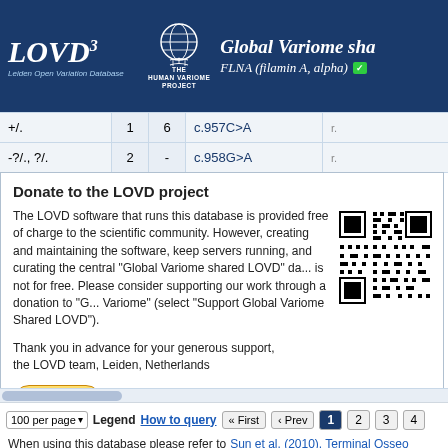LOVD3 - Global Variome sha... - FLNA (filamin A, alpha)
| Zygosity |  |  | DNA change |  |
| --- | --- | --- | --- | --- |
| +/. |  | 1  6 | c.957C>A | r. |
| -?/., ?/. |  | 2  - | c.958G>A | r. |
Donate to the LOVD project
The LOVD software that runs this database is provided free of charge to the scientific community. However, creating and maintaining the software, keeping servers running, and curating the central "Global Variome shared LOVD" da... is not for free. Please consider supporting our work through a donation to "G... Variome" (select "Support Global Variome Shared LOVD").
Thank you in advance for your generous support,
the LOVD team, Leiden, Netherlands
[Figure (other): QR code for donation link]
[Figure (other): PayPal Donate button]
100 per page  Legend  How to query  « First  ‹ Prev  1  2  3  4
When using this database please refer to Sun et al. (2010), Terminal Osseo...